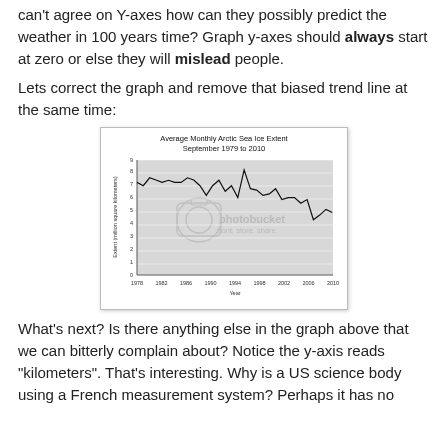can't agree on Y-axes how can they possibly predict the weather in 100 years time? Graph y-axes should always start at zero or else they will mislead people.
Lets correct the graph and remove that biased trend line at the same time:
[Figure (line-chart): Average Monthly Arctic Sea Ice Extent September 1979 to 2010]
What's next? Is there anything else in the graph above that we can bitterly complain about? Notice the y-axis reads "kilometers". That's interesting. Why is a US science body using a French measurement system? Perhaps it has no